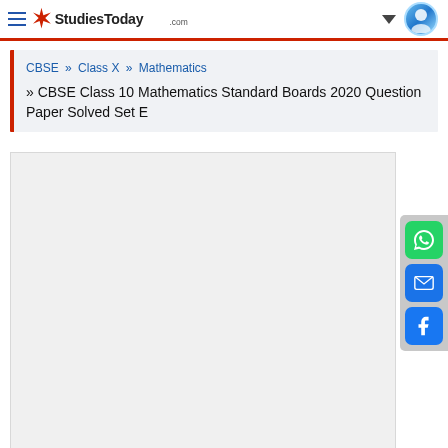StudiesToday.com
CBSE » Class X » Mathematics » CBSE Class 10 Mathematics Standard Boards 2020 Question Paper Solved Set E
[Figure (screenshot): Empty grey content area with white background – document content area placeholder]
[Figure (infographic): Social share buttons panel: WhatsApp (green), Email (blue), Facebook (blue)]